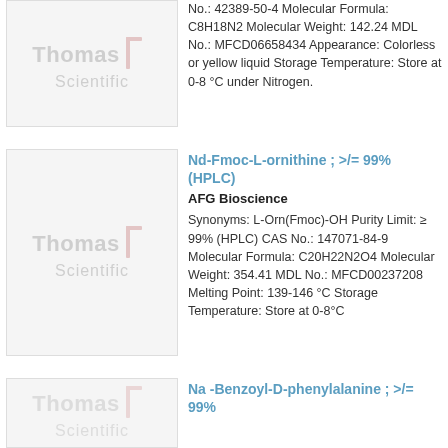[Figure (logo): Thomas Scientific logo placeholder image box]
No.: 42389-50-4 Molecular Formula: C8H18N2 Molecular Weight: 142.24 MDL No.: MFCD06658434 Appearance: Colorless or yellow liquid Storage Temperature: Store at 0-8 °C under Nitrogen.
[Figure (logo): Thomas Scientific logo placeholder image box]
Nd-Fmoc-L-ornithine ; >/= 99% (HPLC)
AFG Bioscience
Synonyms: L-Orn(Fmoc)-OH Purity Limit: ≥ 99% (HPLC) CAS No.: 147071-84-9 Molecular Formula: C20H22N2O4 Molecular Weight: 354.41 MDL No.: MFCD00237208 Melting Point: 139-146 °C Storage Temperature: Store at 0-8°C
[Figure (logo): Thomas Scientific logo placeholder image box (partial)]
Na -Benzoyl-D-phenylalanine ; >/= 99%